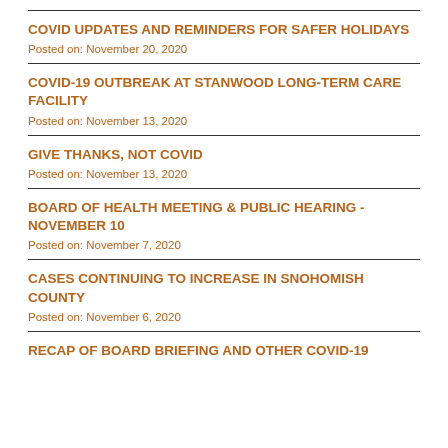COVID UPDATES AND REMINDERS FOR SAFER HOLIDAYS
Posted on: November 20, 2020
COVID-19 OUTBREAK AT STANWOOD LONG-TERM CARE FACILITY
Posted on: November 13, 2020
GIVE THANKS, NOT COVID
Posted on: November 13, 2020
BOARD OF HEALTH MEETING & PUBLIC HEARING - NOVEMBER 10
Posted on: November 7, 2020
CASES CONTINUING TO INCREASE IN SNOHOMISH COUNTY
Posted on: November 6, 2020
RECAP OF BOARD BRIEFING AND OTHER COVID-19